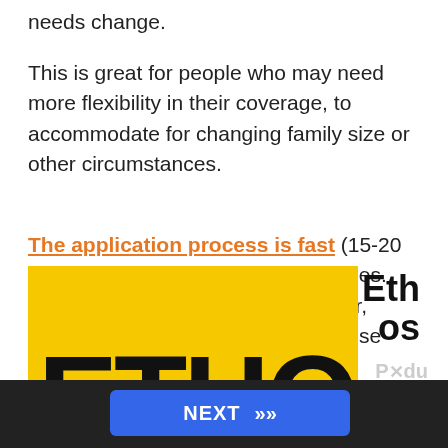needs change.
This is great for people who may need more flexibility in their coverage, to accommodate for changing family size or other circumstances.
The application process is fast (15-20 minutes) and you won't find extra fees. However, if you're looking for a rider, you'll have to look elsewhere because they don't offer any.
[Figure (photo): Ethos insurance company logo on a yellow background with large bold black text reading ETHOS, partially cropped. A dark navigation bar at bottom with a blue NEXT button and double chevrons. Text 'Ethos' appears to the right of the image in bold. A 'Produ' label with an X icon is partially visible at bottom right.]